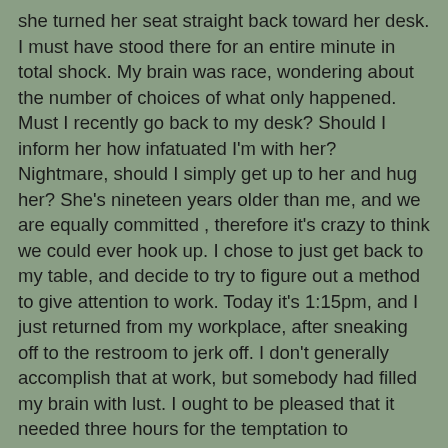she turned her seat straight back toward her desk. I must have stood there for an entire minute in total shock. My brain was race, wondering about the number of choices of what only happened. Must I recently go back to my desk? Should I inform her how infatuated I'm with her? Nightmare, should I simply get up to her and hug her? She's nineteen years older than me, and we are equally committed , therefore it's crazy to think we could ever hook up. I chose to just get back to my table, and decide to try to figure out a method to give attention to work. Today it's 1:15pm, and I just returned from my workplace, after sneaking off to the restroom to jerk off. I don't generally accomplish that at work, but somebody had filled my brain with lust. I ought to be pleased that it needed three hours for the temptation to eventually get over. I change towards my pc and I hear Janie's very common high heel pumps on the tile floor. Lord damn that's the best noise, because I understand I reach see her sexy legs in those heels. I turn to gawk at her, as usual, and detect she's holding a field of papers. It seems somewhat large, but she does not appear to be she is really fighting it. In any event, I see an opportunity simply to communicate with her again. May I allow you to with that package? I ask. It looks heavy.